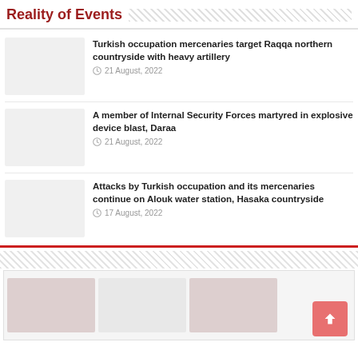Reality of Events
Turkish occupation mercenaries target Raqqa northern countryside with heavy artillery
21 August, 2022
A member of Internal Security Forces martyred in explosive device blast, Daraa
21 August, 2022
Attacks by Turkish occupation and its mercenaries continue on Alouk water station, Hasaka countryside
17 August, 2022